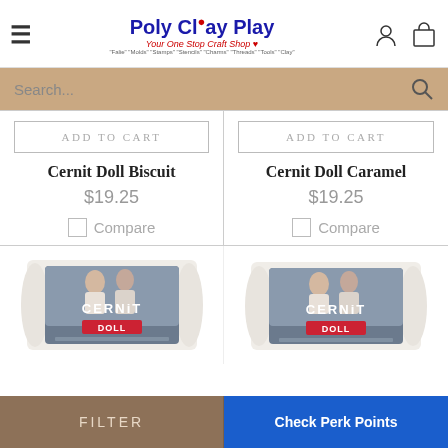[Figure (logo): Poly Clay Play logo with tagline 'Your One Stop Craft Shop']
Search...
ADD TO CART | Cernit Doll Biscuit | $19.25 | Compare
ADD TO CART | Cernit Doll Caramel | $19.25 | Compare
[Figure (photo): Cernit Doll polymer clay package - Biscuit color]
[Figure (photo): Cernit Doll polymer clay package - Caramel color]
FILTER
Check Perk Points